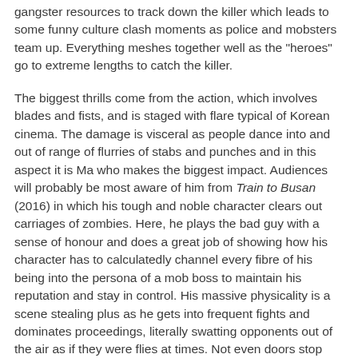gangster resources to track down the killer which leads to some funny culture clash moments as police and mobsters team up. Everything meshes together well as the "heroes" go to extreme lengths to catch the killer.
The biggest thrills come from the action, which involves blades and fists, and is staged with flare typical of Korean cinema. The damage is visceral as people dance into and out of range of flurries of stabs and punches and in this aspect it is Ma who makes the biggest impact. Audiences will probably be most aware of him from Train to Busan (2016) in which his tough and noble character clears out carriages of zombies. Here, he plays the bad guy with a sense of honour and does a great job of showing how his character has to calculatedly channel every fibre of his being into the persona of a mob boss to maintain his reputation and stay in control. His massive physicality is a scene stealing plus as he gets into frequent fights and dominates proceedings, literally swatting opponents out of the air as if they were flies at times. Not even doors stop him from punching in the face of a target in the film's most satisfying fight. Kim Moo Yul provides a fun and sparky counterpart and their rough-and-tumble and blackly comic dynamic has a fizz-bang flavour. Kim Sung-Kyu's serial killer is